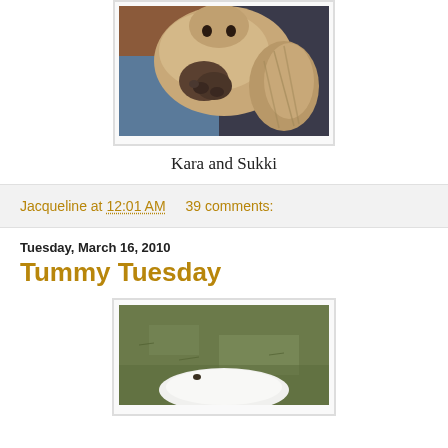[Figure (photo): Close-up photo of a fluffy brown/tan cat being held, showing its paws and fluffy tail, labeled Kara and Sukki]
Kara and Sukki
Jacqueline at 12:01 AM    39 comments:
Tuesday, March 16, 2010
Tummy Tuesday
[Figure (photo): Photo of a white cat lying belly-up on green grass outdoors]